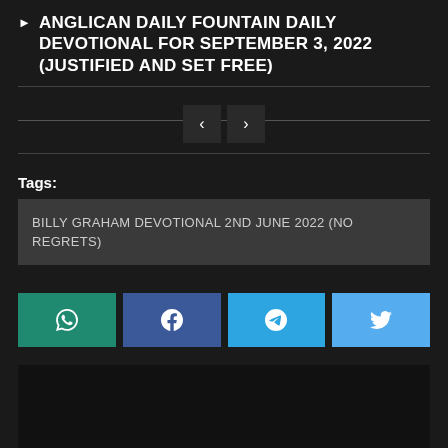ANGLICAN DAILY FOUNTAIN DAILY DEVOTIONAL FOR SEPTEMBER 3, 2022  (JUSTIFIED AND SET FREE)
[Figure (other): Navigation arrows: left chevron and right chevron buttons on a dark background with a horizontal line]
Tags:
BILLY GRAHAM DEVOTIONAL 2ND JUNE 2022 (NO REGRETS)
[Figure (other): Four social share buttons: WhatsApp (teal), Facebook (dark blue), Telegram (blue), Twitter (light blue) each with respective icons]
[Figure (other): Dark rectangular content area at the bottom of the page]